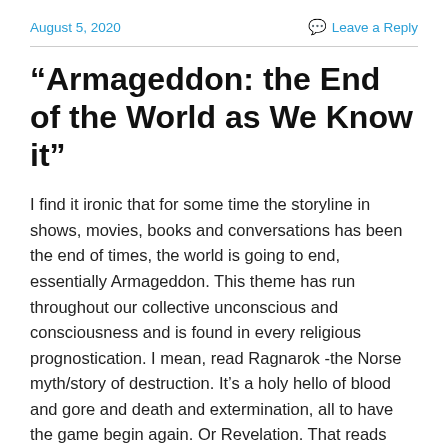August 5, 2020   Leave a Reply
“Armageddon: the End of the World as We Know it”
I find it ironic that for some time the storyline in shows, movies, books and conversations has been the end of times, the world is going to end, essentially Armageddon. This theme has run throughout our collective unconscious and consciousness and is found in every religious prognostication. I mean, read Ragnarok -the Norse myth/story of destruction. It’s a holy hello of blood and gore and death and extermination, all to have the game begin again. Or Revelation. That reads more like a